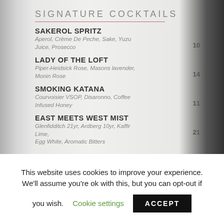SIGNATURE COCKTAILS
SAKEROL SPRITZ — Aperol, Crème De Peche, Sake, Yuzu Juice, Prosecco — 10
LADY OF THE LOFT — Piper-Heidsick Rose, Masons lavender, Monin Rose — 14
SMOKING KATANA — Courvoisier VSOP, Disaronno, Coffee Infused Honey — 11
EAST MEETS WEST MIST — Glenfidditch 21yr, Ardberg 10yr, Kaffir Lime, Egg White, Aromatic Bitters — 21
This website uses cookies to improve your experience. We'll assume you're ok with this, but you can opt-out if you wish. Cookie settings ACCEPT